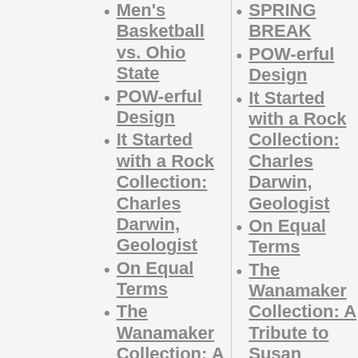Men's Basketball vs. Ohio State
POW-erful Design
It Started with a Rock Collection: Charles Darwin, Geologist
On Equal Terms
The Wanamaker Collection: A Tribute to Susan Applegate Krouse, 1955 - 2010
RecycleMania
Space Chase
Lansing Symphony Family Series
SPRING BREAK
POW-erful Design
It Started with a Rock Collection: Charles Darwin, Geologist
On Equal Terms
The Wanamaker Collection: A Tribute to Susan Applegate Krouse, 1955 - 2010
Spring Break
RecycleMania
East Neighborhood Clinic - 127 Hubbard Ha...